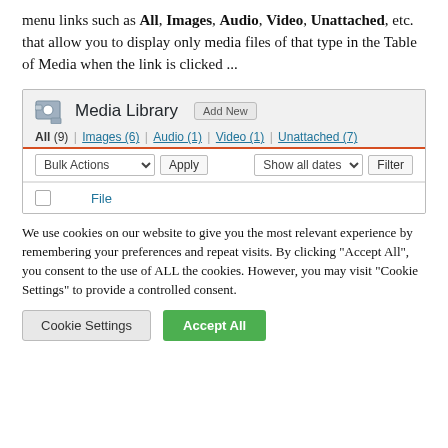menu links such as All, Images, Audio, Video, Unattached, etc. that allow you to display only media files of that type in the Table of Media when the link is clicked ...
[Figure (screenshot): WordPress Media Library admin screen showing navigation links (All (9), Images (6), Audio (1), Video (1), Unattached (7)), a Bulk Actions dropdown, Apply button, Show all dates dropdown, Filter button, and a table header row with checkbox and File column.]
We use cookies on our website to give you the most relevant experience by remembering your preferences and repeat visits. By clicking "Accept All", you consent to the use of ALL the cookies. However, you may visit "Cookie Settings" to provide a controlled consent.
Cookie Settings | Accept All